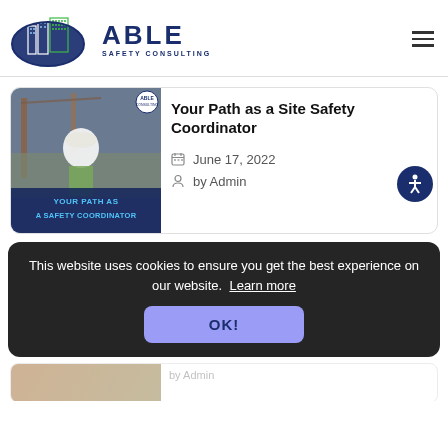[Figure (logo): Able Safety Consulting logo with buildings graphic and company name]
[Figure (photo): Blog post card: construction site with worker in hard hat, overlay text YOUR PATH AS A SAFETY COORDINATOR]
Your Path as a Site Safety Coordinator
June 17, 2022
by Admin
This website uses cookies to ensure you get the best experience on our website.  Learn more
OK!